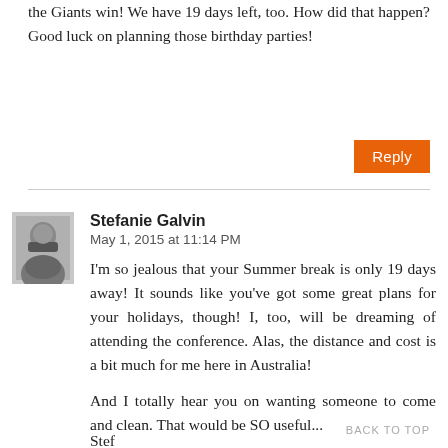the Giants win! We have 19 days left, too. How did that happen? Good luck on planning those birthday parties!
Reply
Stefanie Galvin
May 1, 2015 at 11:14 PM
I'm so jealous that your Summer break is only 19 days away! It sounds like you've got some great plans for your holidays, though! I, too, will be dreaming of attending the conference. Alas, the distance and cost is a bit much for me here in Australia!
And I totally hear you on wanting someone to come and clean. That would be SO useful...
Stef
BACK TO TOP